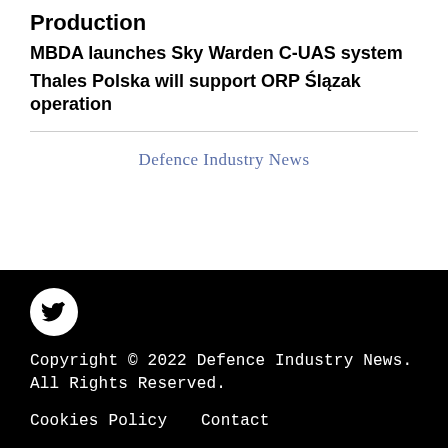Production
MBDA launches Sky Warden C-UAS system
Thales Polska will support ORP Ślązak operation
Defence Industry News
Copyright © 2022 Defence Industry News. All Rights Reserved.
Cookies Policy   Contact